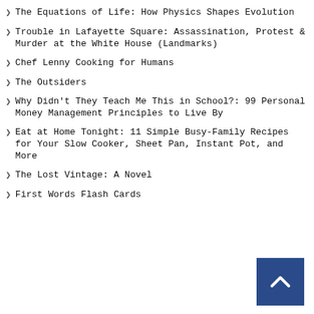The Equations of Life: How Physics Shapes Evolution
Trouble in Lafayette Square: Assassination, Protest & Murder at the White House (Landmarks)
Chef Lenny Cooking for Humans
The Outsiders
Why Didn't They Teach Me This in School?: 99 Personal Money Management Principles to Live By
Eat at Home Tonight: 11 Simple Busy-Family Recipes for Your Slow Cooker, Sheet Pan, Instant Pot, and More
The Lost Vintage: A Novel
First Words Flash Cards